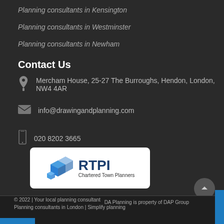Planning consultants in Kensington
Planning consultants in Westminster
Planning consultants in Newham
Contact Us
Mercham House, 25-27 The Burroughs, Hendon, London, NW4 4AR
info@drawingandplanning.com
020 8202 3665
[Figure (logo): RTPI Chartered Town Planners logo on white rounded rectangle background]
© 2022 | Your local planning consultant
Planning consultants in London | Simplify planning
DA Planning is property of DAP Group